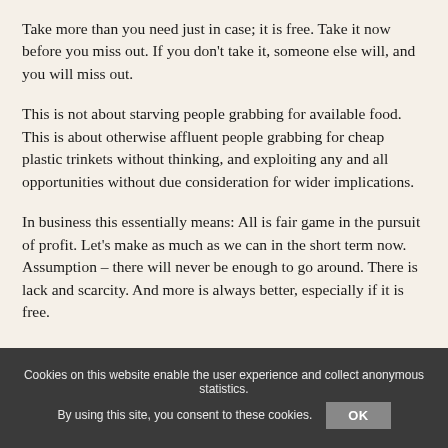Take more than you need just in case; it is free. Take it now before you miss out. If you don't take it, someone else will, and you will miss out.
This is not about starving people grabbing for available food. This is about otherwise affluent people grabbing for cheap plastic trinkets without thinking, and exploiting any and all opportunities without due consideration for wider implications.
In business this essentially means: All is fair game in the pursuit of profit. Let's make as much as we can in the short term now. Assumption – there will never be enough to go around. There is lack and scarcity. And more is always better, especially if it is free.
Cookies on this website enable the user experience and collect anonymous statistics. By using this site, you consent to these cookies. OK